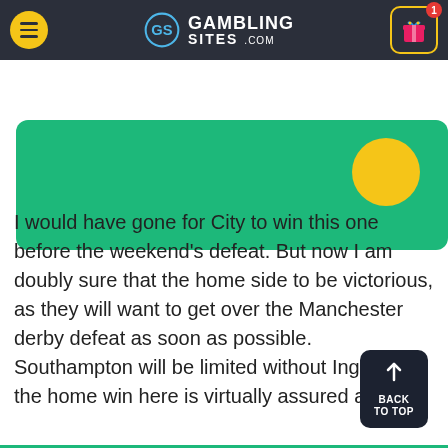[Figure (screenshot): GamblingSites.com navigation bar with hamburger menu, logo, and gift icon with badge]
[Figure (illustration): Partial green banner with yellow circle visible at top]
I would have gone for City to win this one before the weekend's defeat. But now I am doubly sure that the home side to be victorious, as they will want to get over the Manchester derby defeat as soon as possible. Southampton will be limited without Ings, but the home win here is virtually assured anyway.
[Figure (other): Blue 'More Betting Picks' call-to-action button with yellow arrow circle]
[Figure (other): Dark 'Back to Top' button with upward arrow]